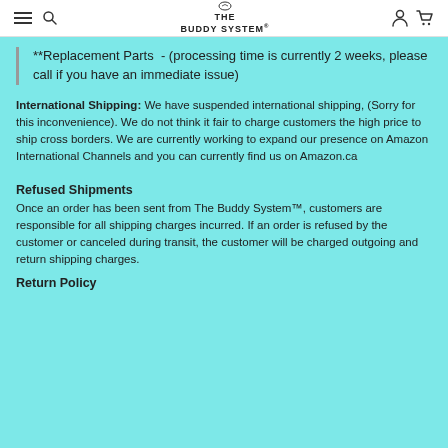THE BUDDY SYSTEM
**Replacement Parts  - (processing time is currently 2 weeks, please call if you have an immediate issue)
International Shipping: We have suspended international shipping, (Sorry for this inconvenience). We do not think it fair to charge customers the high price to ship cross borders. We are currently working to expand our presence on Amazon International Channels and you can currently find us on Amazon.ca
Refused Shipments
Once an order has been sent from The Buddy System™, customers are responsible for all shipping charges incurred. If an order is refused by the customer or canceled during transit, the customer will be charged outgoing and return shipping charges.
Return Policy